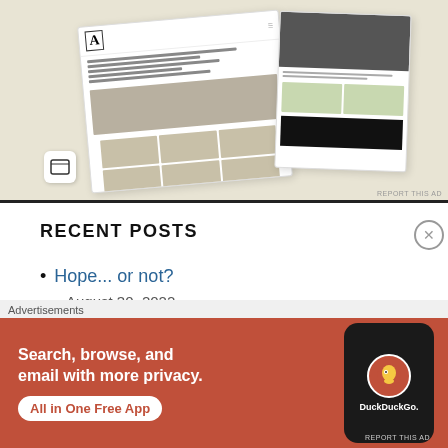[Figure (screenshot): Advertisement showing mockup of a food/recipe website with multiple screen views on a beige background, with food photography]
RECENT POSTS
Hope... or not?
August 30, 2022
[Figure (advertisement): DuckDuckGo advertisement: Search, browse, and email with more privacy. All in One Free App. Shows DuckDuckGo app icon and phone mockup on orange/red background.]